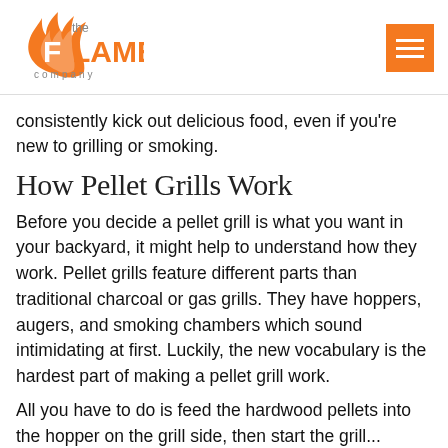[Figure (logo): The Flame Company logo — orange flame with letter F and text 'FLAME' in orange and gray 'the' and 'company' in gray]
consistently kick out delicious food, even if you're new to grilling or smoking.
How Pellet Grills Work
Before you decide a pellet grill is what you want in your backyard, it might help to understand how they work. Pellet grills feature different parts than traditional charcoal or gas grills. They have hoppers, augers, and smoking chambers which sound intimidating at first. Luckily, the new vocabulary is the hardest part of making a pellet grill work.
All you have to do is feed the hardwood pellets into the hopper on the grill side, then start the grill...